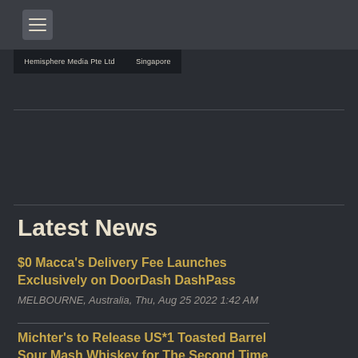Hemisphere Media Pte Ltd | Singapore
Latest News
$0 Macca's Delivery Fee Launches Exclusively on DoorDash DashPass
MELBOURNE, Australia, Thu, Aug 25 2022 1:42 AM
Michter's to Release US*1 Toasted Barrel Sour Mash Whiskey for The Second Time Ever
LOUISVILLE, Ky., Tue, Aug 23 2022 1:58 PM